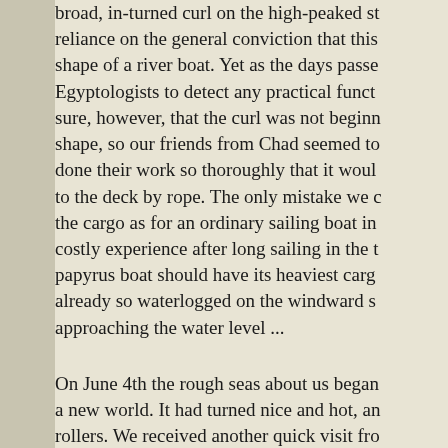broad, in-turned curl on the high-peaked st reliance on the general conviction that this shape of a river boat. Yet as the days passe Egyptologists to detect any practical funct sure, however, that the curl was not beginn shape, so our friends from Chad seemed to done their work so thoroughly that it woul to the deck by rope. The only mistake we c the cargo as for an ordinary sailing boat in costly experience after long sailing in the t papyrus boat should have its heaviest carg already so waterlogged on the windward s approaching the water level ...
On June 4th the rough seas about us began a new world. It had turned nice and hot, an rollers. We received another quick visit fro Perhaps they were the same ones which ha friendly in their own element and we thou would have succeeded in launching its han giants, so that in the end only the cold stee the ocean depths where the Almighty—an whale suckling its young.
It was so nice and hot that Georges tore of lifeline on. He disappeared under the Ra i shout of delight which made Yuri and Sant